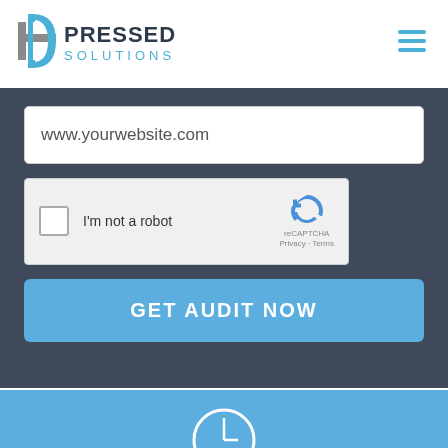[Figure (logo): Pressed Solutions logo with teal/dark blue cross-plus icon and 'PRESSED SOLUTIONS' text in dark blue and gray]
[Figure (illustration): Hamburger menu icon with three horizontal teal lines]
[Figure (screenshot): Website audit form UI with URL input field showing 'www.yourwebsite.com', a reCAPTCHA widget, and a 'GET AUDIT NOW' blue button, on a dark background panel]
[Figure (illustration): Partial blue strip at the bottom with a circular clock/timer icon partially visible]